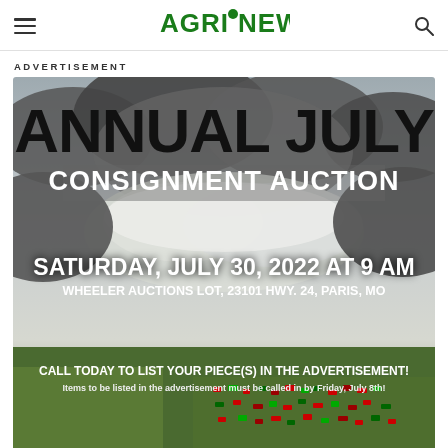AgriNews
ADVERTISEMENT
[Figure (illustration): Annual July Consignment Auction advertisement. Saturday, July 30, 2022 at 9 AM. Wheeler Auctions Lot, 23101 Hwy. 24, Paris, MO. Call today to list your piece(s) in the advertisement! Items to be listed in the advertisement must be called in by Friday, July 8th! Background shows stormy sky and aerial view of auction lot with colorful equipment.]